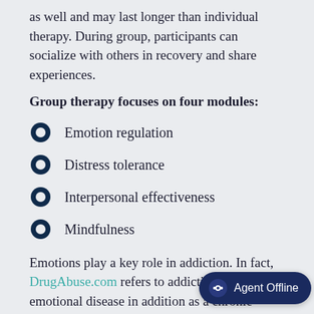as well and may last longer than individual therapy. During group, participants can socialize with others in recovery and share experiences.
Group therapy focuses on four modules:
Emotion regulation
Distress tolerance
Interpersonal effectiveness
Mindfulness
Emotions play a key role in addiction. In fact, DrugAbuse.com refers to addiction as an emotional disease in addition as a chronic condition. Feelings such as guilt,